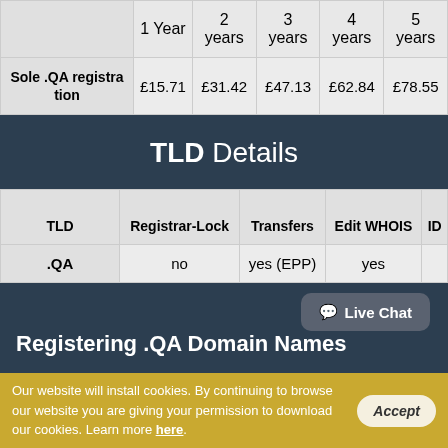|  | 1 Year | 2 years | 3 years | 4 years | 5 years |
| --- | --- | --- | --- | --- | --- |
| Sole .QA registration | £15.71 | £31.42 | £47.13 | £62.84 | £78.55 |
TLD Details
| TLD | Registrar-Lock | Transfers | Edit WHOIS | ID |
| --- | --- | --- | --- | --- |
| .QA | no | yes (EPP) | yes |  |
Registering .QA Domain Names
Our website will install cookies. By continuing to browse our website you are giving your permission to download our cookies. Learn more here.